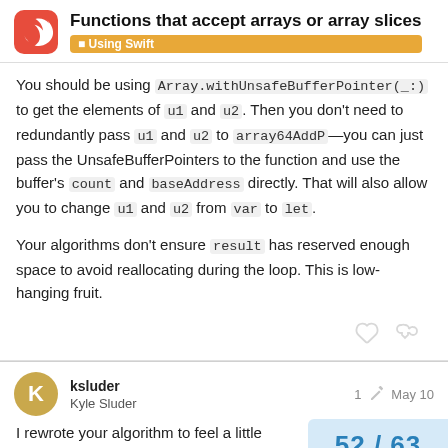Functions that accept arrays or array slices — Using Swift
You should be using Array.withUnsafeBufferPointer(_:) to get the elements of u1 and u2. Then you don't need to redundantly pass u1 and u2 to array64AddP—you can just pass the UnsafeBufferPointers to the function and use the buffer's count and baseAddress directly. That will also allow you to change u1 and u2 from var to let.
Your algorithms don't ensure result has reserved enough space to avoid reallocating during the loop. This is low-hanging fruit.
ksluder
Kyle Sluder
1  May 10
I rewrote your algorithm to feel a little more